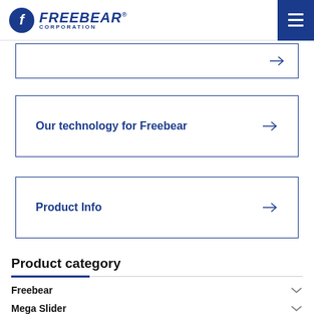[Figure (logo): Freebear Corporation logo with blue circular icon and italic blue text]
Our technology for Freebear →
Product Info →
Product category
Freebear
Mega Slider